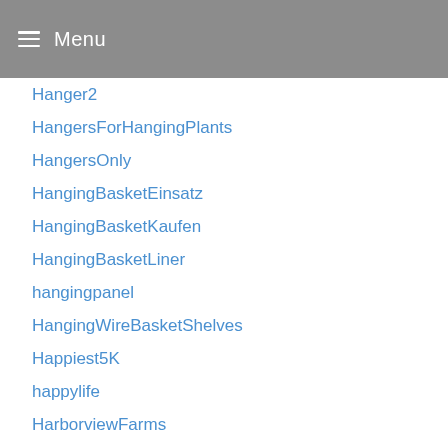Menu
Hanger2
HangersForHangingPlants
HangersOnly
HangingBasketEinsatz
HangingBasketKaufen
HangingBasketLiner
hangingpanel
HangingWireBasketShelves
Happiest5K
happylife
HarborviewFarms
HarbourViewAntwerpen
HarbourViewHotelHongKong
hardware
hardwoodfloor
Hay
Health